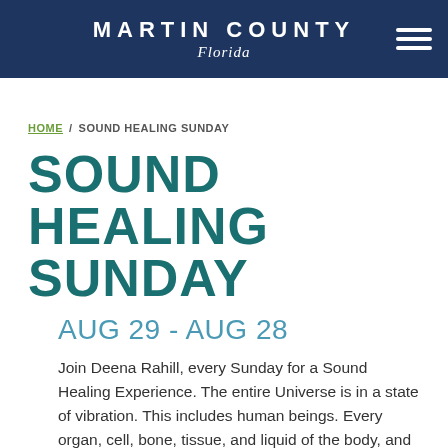MARTIN COUNTY Florida
HOME / SOUND HEALING SUNDAY
SOUND HEALING SUNDAY
AUG 29 - AUG 28
Join Deena Rahill, every Sunday for a Sound Healing Experience. The entire Universe is in a state of vibration. This includes human beings. Every organ, cell, bone, tissue, and liquid of the body, and the electromagnetic fields which